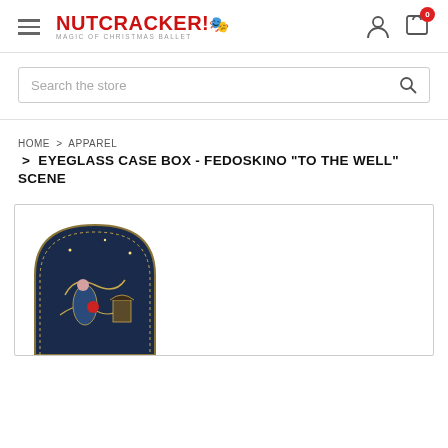NUTCRACKER! Magic of Christmas Ballet — navigation header with hamburger menu, logo, user icon, and cart icon (0 items)
Search the store
HOME > APPAREL > EYEGLASS CASE BOX - FEDOSKINO "TO THE WELL" SCENE
EYEGLASS CASE BOX - FEDOSKINO "TO THE WELL" SCENE
[Figure (photo): Fedoskino lacquer eyeglass case box with ornate dark blue scene depicting figures at a well, with gold decorative border, shown at bottom of page.]